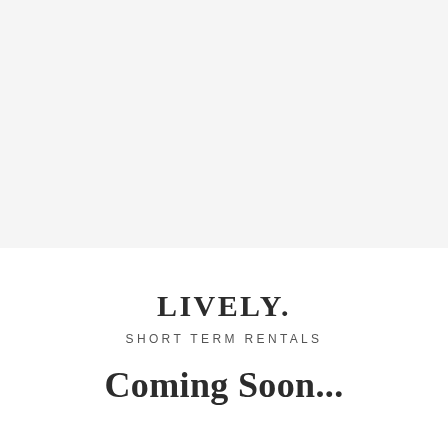[Figure (other): Light gray background area occupying the top portion of the page]
LIVELY.
SHORT TERM RENTALS
Coming Soon...